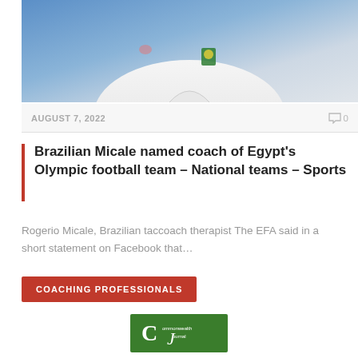[Figure (photo): Photo of a man in a white shirt with a Brazilian flag badge, possibly at a sports event with blue background]
AUGUST 7, 2022
0
Brazilian Micale named coach of Egypt's Olympic football team – National teams – Sports
Rogerio Micale, Brazilian taccoach therapist The EFA said in a short statement on Facebook that…
COACHING PROFESSIONALS
[Figure (logo): Commonwealth Journal logo — green rectangle with stylized C and J letters in white]